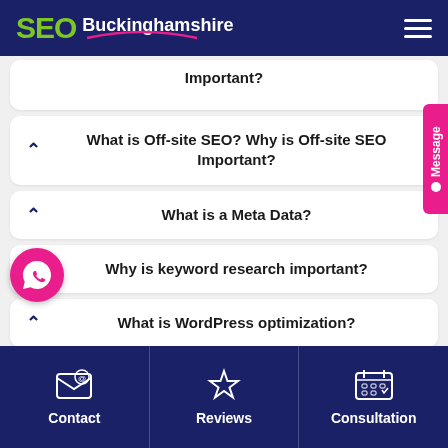SEO Buckinghamshire
What is Off-site SEO? Why is Off-site SEO Important?
What is a Meta Data?
Why is keyword research important?
What is WordPress optimization?
What is accelerated mobile pages?
Contact | Reviews | Consultation